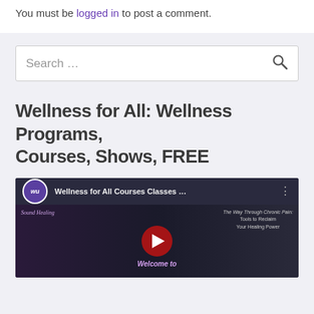You must be logged in to post a comment.
[Figure (screenshot): Search bar with placeholder text 'Search ...' and a search icon on the right]
Wellness for All: Wellness Programs, Courses, Shows, FREE
[Figure (screenshot): YouTube video thumbnail showing 'Wellness for All Courses Classes ...' with WU logo, course thumbnails, and a play button overlay]